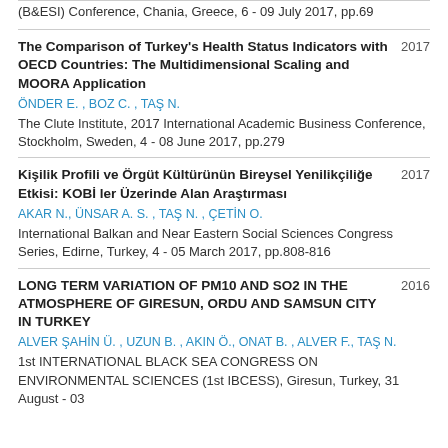(B&ESI) Conference, Chania, Greece, 6 - 09 July 2017, pp.69
The Comparison of Turkey's Health Status Indicators with OECD Countries: The Multidimensional Scaling and MOORA Application 2017
ÖNDER E. , BOZ C. , TAŞ N.
The Clute Institute, 2017 International Academic Business Conference, Stockholm, Sweden, 4 - 08 June 2017, pp.279
Kişilik Profili ve Örgüt Kültürünün Bireysel Yenilikçiliğe Etkisi: KOBİ ler Üzerinde Alan Araştırması 2017
AKAR N., ÜNSAR A. S. , TAŞ N. , ÇETİN O.
International Balkan and Near Eastern Social Sciences Congress Series, Edirne, Turkey, 4 - 05 March 2017, pp.808-816
LONG TERM VARIATION OF PM10 AND SO2 IN THE ATMOSPHERE OF GIRESUN, ORDU AND SAMSUN CITY IN TURKEY 2016
ALVER ŞAHİN Ü. , UZUN B. , AKIN Ö., ONAT B. , ALVER F., TAŞ N.
1st INTERNATIONAL BLACK SEA CONGRESS ON ENVIRONMENTAL SCIENCES (1st IBCESS), Giresun, Turkey, 31 August - 03